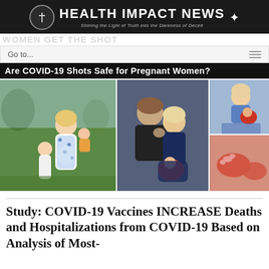HEALTH IMPACT NEWS — Shining the Light of Truth into the Darkness of Deceit
Go to...
Are COVID-19 Shots Safe for Pregnant Women?
[Figure (photo): Photo collage: pregnant woman with children outdoors (left), couple with newborn baby (center), woman holding newborn in hospital (top right), close-up of newborn hands and feet (bottom right)]
Study: COVID-19 Vaccines INCREASE Deaths and Hospitalizations from COVID-19 Based on Analysis of Most-